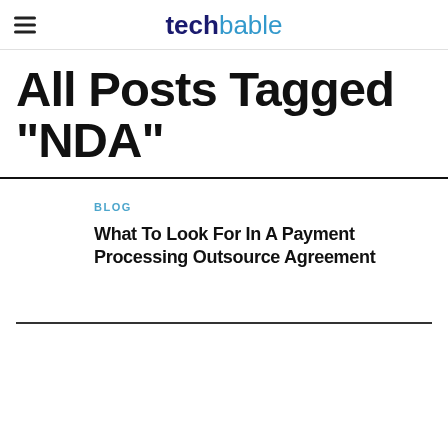techbable
All Posts Tagged "NDA"
BLOG
What To Look For In A Payment Processing Outsource Agreement